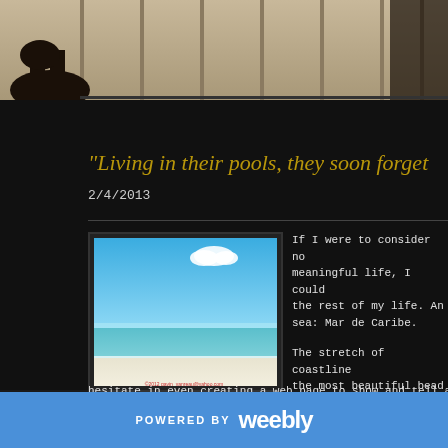[Figure (photo): Dark silhouette photo at top of page, appears to show figures or structures against a light background]
"Living in their pools, they soon forget
2/4/2013
[Figure (photo): Beach photo showing a tropical scene with blue sky, turquoise water, and white sand. Copyright watermark: ©2012 gavin_vanreau@yahoo.com]
If I were to consider no meaningful life, I could the rest of my life. An sea: Mar de Caribe.

The stretch of coastline the most beautiful bead experience this at will thankfully - it still rem
hesitate in even creating a web page to show and tell a tale of what
POWERED BY weebly